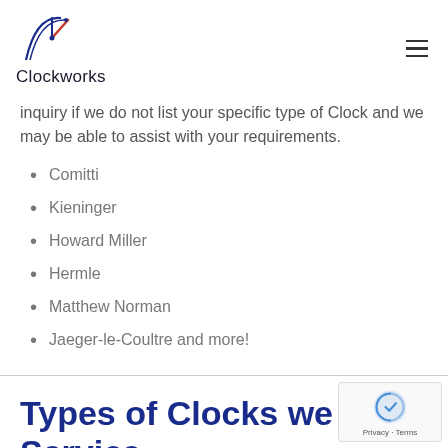Clockworks
inquiry if we do not list your specific type of Clock and we may be able to assist with your requirements.
Comitti
Kieninger
Howard Miller
Hermle
Matthew Norman
Jaeger-le-Coultre and more!
Types of Clocks we Service, Repair, and Restore in Rothw